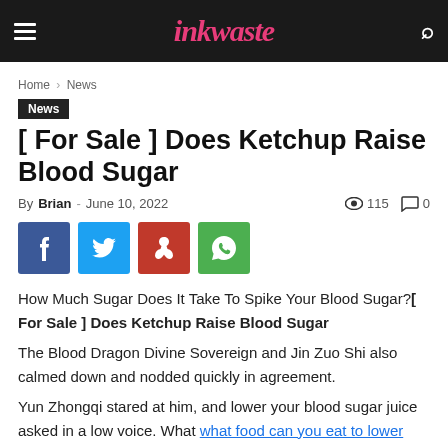inkwaste
Home › News
News
[ For Sale ] Does Ketchup Raise Blood Sugar
By Brian - June 10, 2022  115  0
[Figure (other): Social share buttons: Facebook, Twitter, Pinterest, WhatsApp]
How Much Sugar Does It Take To Spike Your Blood Sugar?[ For Sale ] Does Ketchup Raise Blood Sugar
The Blood Dragon Divine Sovereign and Jin Zuo Shi also calmed down and nodded quickly in agreement.
Yun Zhongqi stared at him, and lower your blood sugar juice asked in a low voice. What what food can you eat to lower